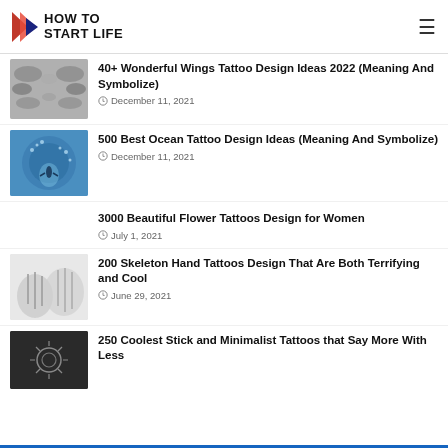HOW TO START LIFE
40+ Wonderful Wings Tattoo Design Ideas 2022 (Meaning And Symbolize) — December 11, 2021
500 Best Ocean Tattoo Design Ideas (Meaning And Symbolize) — December 11, 2021
3000 Beautiful Flower Tattoos Design for Women — July 1, 2021
200 Skeleton Hand Tattoos Design That Are Both Terrifying and Cool — June 29, 2021
250 Coolest Stick and Minimalist Tattoos that Say More With Less